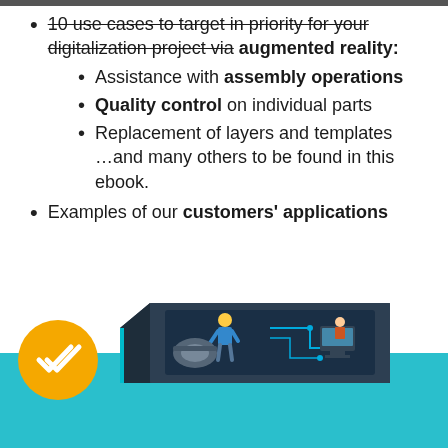10 use cases to target in priority for your digitalization project via augmented reality:
Assistance with assembly operations
Quality control on individual parts
Replacement of layers and templates …and many others to be found in this ebook.
Examples of our customers' applications
[Figure (illustration): Illustration of an ebook cover showing industrial workers using augmented reality tools with machinery, on a teal background with a yellow checkmark circle badge]